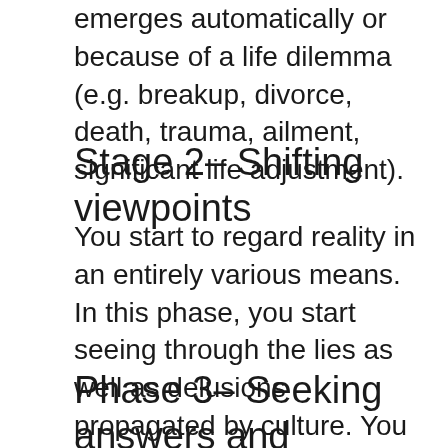emerges automatically or because of a life dilemma (e.g. breakup, divorce, death, trauma, ailment, significant life adjustment).
Stage 2– Shifting viewpoints
You start to regard reality in an entirely various means. In this phase, you start seeing through the lies as well as delusions propagated by culture. You really feel unhappy with life, disrupted by the suffering you see and hopeless to the sickness of the world. You no more see life as you once did in your previous state of complacent unawareness.
Phase 3– Seeking answers and definition